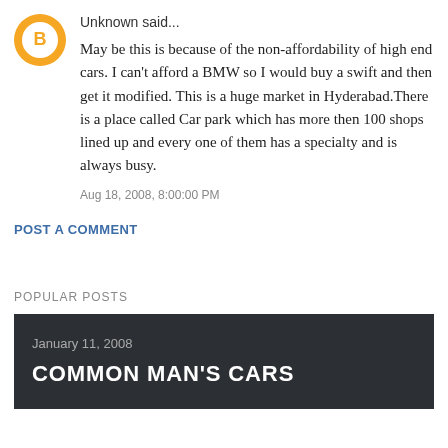Unknown said...
May be this is because of the non-affordability of high end cars. I can't afford a BMW so I would buy a swift and then get it modified. This is a huge market in Hyderabad.There is a place called Car park which has more then 100 shops lined up and every one of them has a specialty and is always busy.
Aug 18, 2008, 8:00:00 PM
POST A COMMENT
POPULAR POSTS
January 11, 2008
COMMON MAN'S CARS